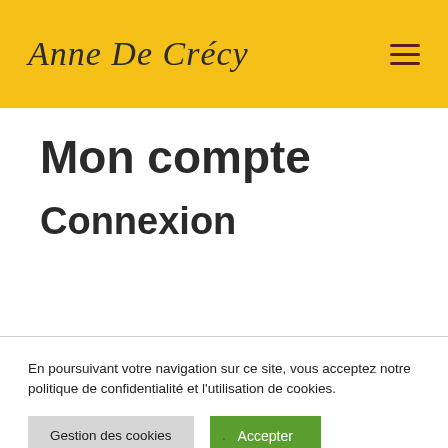Anne De Crécy
Mon compte
Connexion
En poursuivant votre navigation sur ce site, vous acceptez notre politique de confidentialité et l'utilisation de cookies.
Gestion des cookies
Accepter